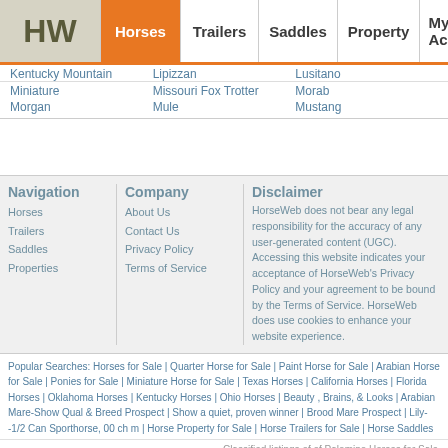HW | Horses | Trailers | Saddles | Property | My Account
Kentucky Mountain
Lipizzan
Lusitano
Miniature
Missouri Fox Trotter
Morab
Morgan
Mule
Mustang
Navigation
Horses
Trailers
Saddles
Properties
Company
About Us
Contact Us
Privacy Policy
Terms of Service
Disclaimer
HorseWeb does not bear any legal responsibility for the accuracy of any user-generated content (UGC). Accessing this website indicates your acceptance of HorseWeb's Privacy Policy and your agreement to be bound by the Terms of Service. HorseWeb does use cookies to enhance your website experience.
Popular Searches: Horses for Sale | Quarter Horse for Sale | Paint Horse for Sale | Arabian Horse for Sale | Ponies for Sale | Miniature Horse for Sale | Texas Horses | California Horses | Florida Horses | Oklahoma Horses | Kentucky Horses | Ohio Horses | Beauty , Brains, & Looks | Arabian Mare-Show Qual & Breed Prospect | Show a quiet, proven winner | Brood Mare Prospect | Lily--1/2 Can Sporthorse, 00 ch m | Horse Property for Sale | Horse Trailers for Sale | Horse Saddles
Classified listings of of Palomino Horses for Sale
Copyright © 1995-2022 HorseWeb.com